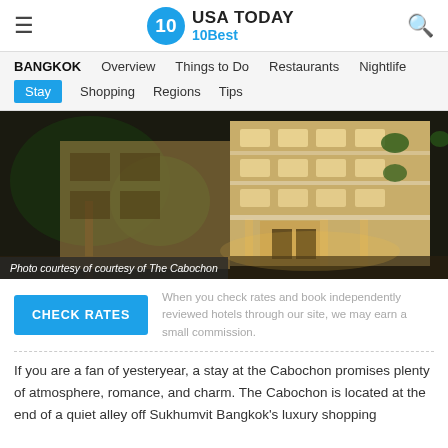USA TODAY 10Best
BANGKOK  Overview  Things to Do  Restaurants  Nightlife  Stay  Shopping  Regions  Tips
[Figure (photo): Night-time exterior photo of The Cabochon hotel building, lit warmly with trees in foreground and white multi-storey facade with balconies.]
Photo courtesy of courtesy of The Cabochon
When you check rates and book independently reviewed hotels through our site, we may earn a small commission.
If you are a fan of yesteryear, a stay at the Cabochon promises plenty of atmosphere, romance, and charm. The Cabochon is located at the end of a quiet alley off Sukhumvit Bangkok's luxury shopping